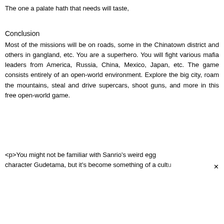The one a palate hath that needs will taste,
Conclusion
Most of the missions will be on roads, some in the Chinatown district and others in gangland, etc. You are a superhero. You will fight various mafia leaders from America, Russia, China, Mexico, Japan, etc. The game consists entirely of an open-world environment. Explore the big city, roam the mountains, steal and drive supercars, shoot guns, and more in this free open-world game.
<p>You might not be familiar with Sanrio's weird egg character Gudetama, but it's become something of a cultu